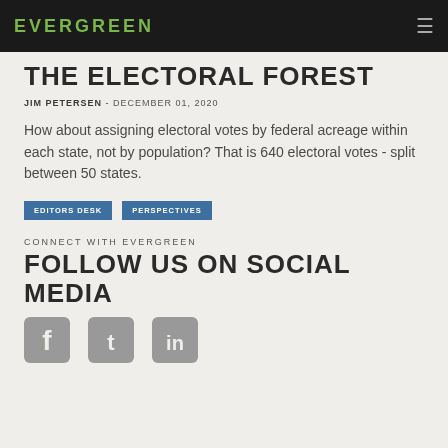EVERGREEN
THE ELECTORAL FOREST
JIM PETERSEN - DECEMBER 01, 2020
How about assigning electoral votes by federal acreage within each state, not by population? That is 640 electoral votes - split between 50 states.
EDITORS DESK
PERSPECTIVES
CONNECT WITH EVERGREEN
FOLLOW US ON SOCIAL MEDIA